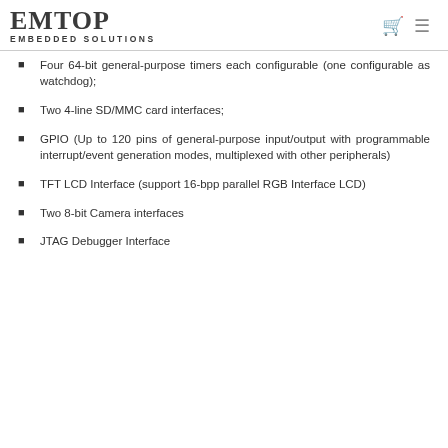EMTOP EMBEDDED SOLUTIONS
Four 64-bit general-purpose timers each configurable (one configurable as watchdog);
Two 4-line SD/MMC card interfaces;
GPIO (Up to 120 pins of general-purpose input/output with programmable interrupt/event generation modes, multiplexed with other peripherals)
TFT LCD Interface (support 16-bpp parallel RGB Interface LCD)
Two 8-bit Camera interfaces
JTAG Debugger Interface